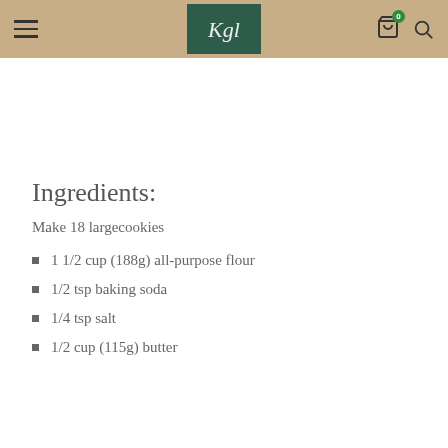Navigation header with logo, hamburger menu, cart icon, and search icon
Ingredients:
Make 18 largecookies
1 1/2 cup (188g) all-purpose flour
1/2 tsp baking soda
1/4 tsp salt
1/2 cup (115g) butter